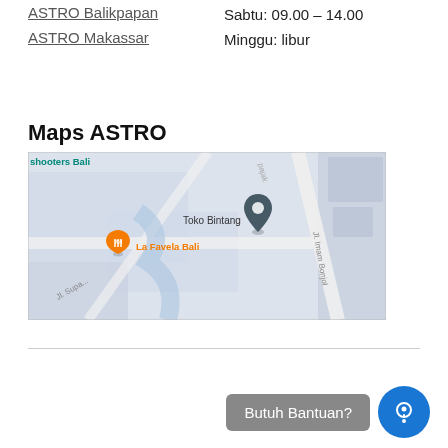ASTRO Balikpapan | Sabtu: 09.00 – 14.00
ASTRO Makassar | Minggu: libur
Maps ASTRO
[Figure (map): Google Maps screenshot showing location near Toko Bintang and La Favela Bali in Bali, Indonesia. A dark teal map pin marks the ASTRO location. La Favela Bali is shown with an orange restaurant marker. Street Jl. Imam Bonjol visible on the right.]
Butuh Bantuan?